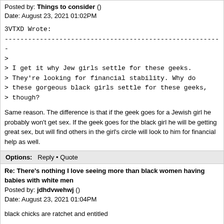Posted by: Things to consider ()
Date: August 23, 2021 01:02PM
3VTXD Wrote:
--------------------------------------------------------
>
> I get it why Jew girls settle for these geeks.
> They're looking for financial stability. Why do
> these gorgeous black girls settle for these geeks,
> though?
Same reason. The difference is that if the geek goes for a Jewish girl he probably won't get sex. If the geek goes for the black girl he will be getting great sex, but will find others in the girl's circle will look to him for financial help as well.
Options:  Reply • Quote
Re: There's nothing I love seeing more than black women having babies with white men
Posted by: jdhdvwehwj ()
Date: August 23, 2021 01:04PM
black chicks are ratchet and entitled
Options:  Reply • Quote
Re: There's nothing I love seeing more than black women having babies with white men
Posted by: Niggers Spread Diseases Too! ()
Date: August 23, 2021 01:19PM